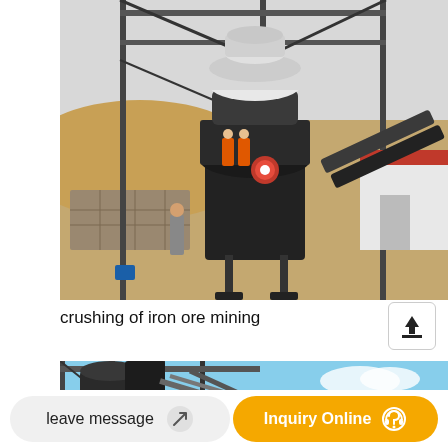[Figure (photo): Industrial cone crusher machine on steel frame structure at a mining site. Workers in orange vests visible near the crusher. Sandy terrain, stone wall, and white/red building in background. Steel conveyor belt visible on the right side.]
crushing of iron ore mining
[Figure (photo): Partial view of heavy industrial crushing or screening equipment on a steel frame structure against a blue sky background.]
leave message
Inquiry Online